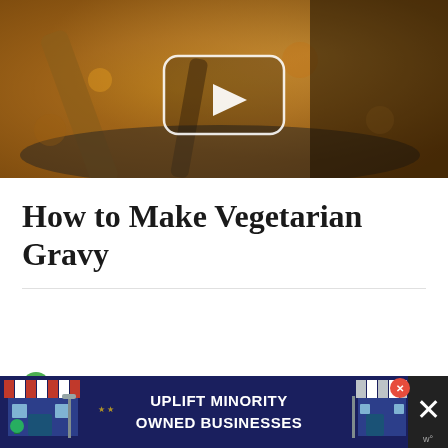[Figure (screenshot): Video thumbnail showing close-up of cooking gravy in a pan with a wooden spoon, with a play button overlay in the center]
How to Make Vegetarian Gravy
1 First, cook the onions
2 Then cook the curry right with the onions
[Figure (infographic): Advertisement banner: UPLIFT MINORITY OWNED BUSINESSES with store illustrations on left and right, and close buttons]